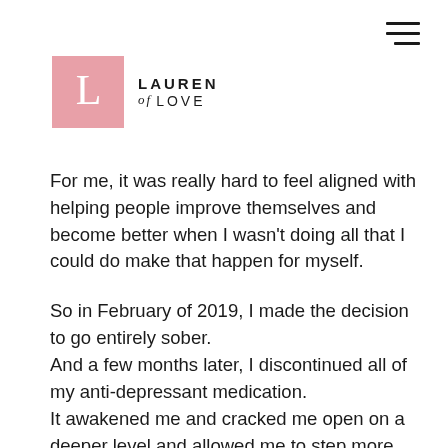[Figure (logo): Lauren of Love logo: pink square with white 'L' letter, followed by text 'LAUREN of LOVE']
For me, it was really hard to feel aligned with helping people improve themselves and become better when I wasn't doing all that I could do make that happen for myself.
So in February of 2019, I made the decision to go entirely sober.
And a few months later, I discontinued all of my anti-depressant medication.
It awakened me and cracked me open on a deeper level and allowed me to step more